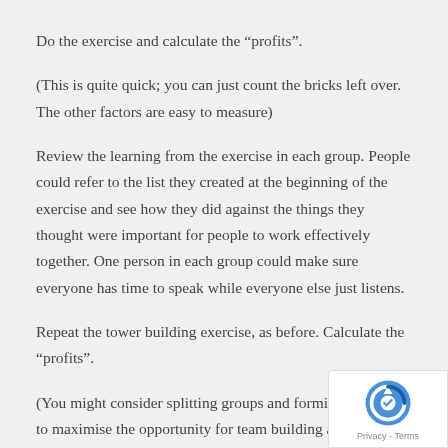Do the exercise and calculate the “profits”.
(This is quite quick; you can just count the bricks left over. The other factors are easy to measure)
Review the learning from the exercise in each group. People could refer to the list they created at the beginning of the exercise and see how they did against the things they thought were important for people to work effectively together. One person in each group could make sure everyone has time to speak while everyone else just listens.
Repeat the tower building exercise, as before. Calculate the “profits”.
(You might consider splitting groups and forming new ones to maximise the opportunity for team building ac department)